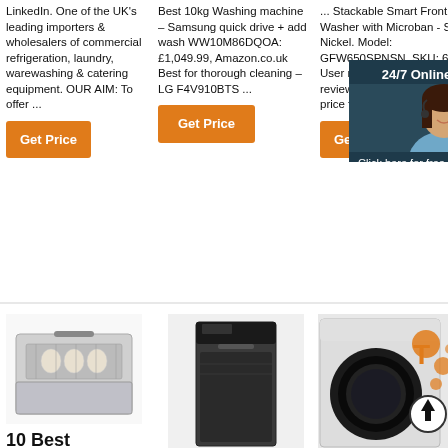LinkedIn. One of the UK's leading importers & wholesalers of commercial refrigeration, laundry, warewashing & catering equipment. OUR AIM: To offer ...
[Figure (other): Orange Get Price button]
Best 10kg Washing machine – Samsung quick drive + add wash WW10M86DQOA: £1,049.99, Amazon.co.uk Best for thorough cleaning – LG F4V910BTS ...
[Figure (other): Orange Get Price button]
... Stackable Smart Front Load Washer with Microban - Satin Nickel. Model: GFW650SPNSN. SKU: 635... User rating ... of 5 stars ... reviews. Match G... $1,034.9... price for $ 1,034.9...
[Figure (other): 24/7 Online chat overlay with agent photo and QUOTATION button]
[Figure (other): Orange Get Price button (partially visible)]
[Figure (photo): Open dishwasher with dishes inside]
[Figure (photo): Dark stainless steel under-counter dishwasher]
[Figure (photo): Washing machine with orange bubble graphics and upward arrow]
10 Best